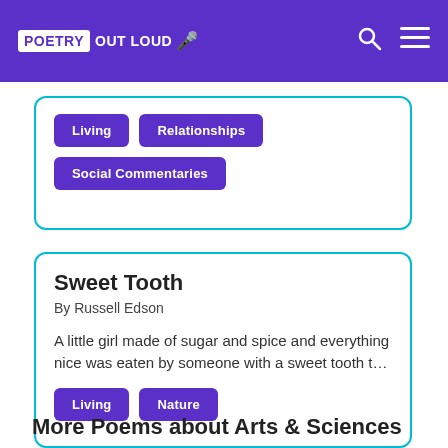POETRY OUT LOUD
Living
Relationships
Social Commentaries
Sweet Tooth
By Russell Edson
A little girl made of sugar and spice and everything nice was eaten by someone with a sweet tooth t…
Living
Nature
More Poems about Arts & Sciences